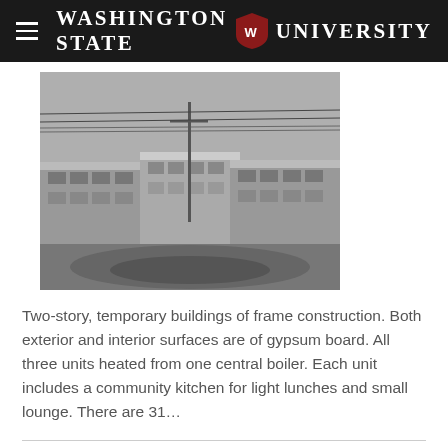Washington State University
[Figure (photo): Black and white photograph of two-story temporary frame construction buildings with a utility pole and overhead wires, muddy ground in foreground and overcast sky]
Two-story, temporary buildings of frame construction. Both exterior and interior surfaces are of gypsum board. All three units heated from one central boiler. Each unit includes a community kitchen for light lunches and small lounge. There are 31...
Agricultural Engineering Building